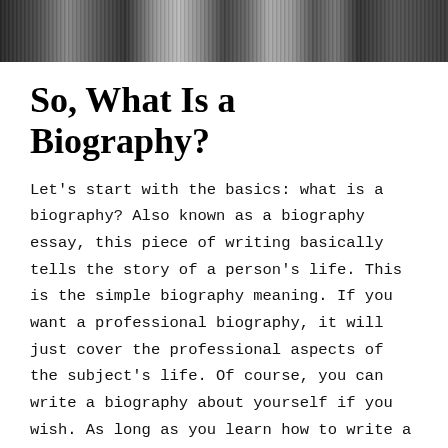[Figure (photo): Black and white photograph strip showing people, partially cropped at top of page]
So, What Is a Biography?
Let's start with the basics: what is a biography? Also known as a biography essay, this piece of writing basically tells the story of a person's life. This is the simple biography meaning. If you want a professional biography, it will just cover the professional aspects of the subject's life. Of course, you can write a biography about yourself if you wish. As long as you learn how to write a bio, you can write